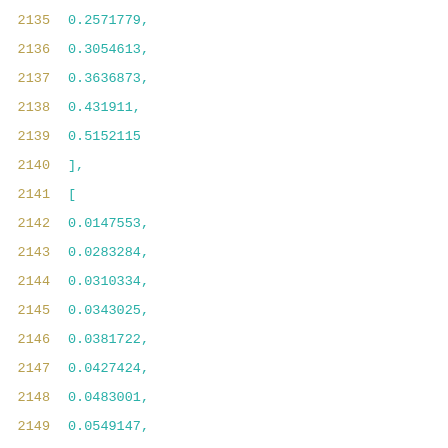2135    0.2571779,
2136    0.3054613,
2137    0.3636873,
2138    0.431911,
2139    0.5152115
2140    ],
2141    [
2142    0.0147553,
2143    0.0283284,
2144    0.0310334,
2145    0.0343025,
2146    0.0381722,
2147    0.0427424,
2148    0.0483001,
2149    0.0549147,
2150    0.0628157,
2151    0.0722994,
2152    0.0836858,
2153    0.0971982,
2154    0.1135257,
2155    0.1329932,